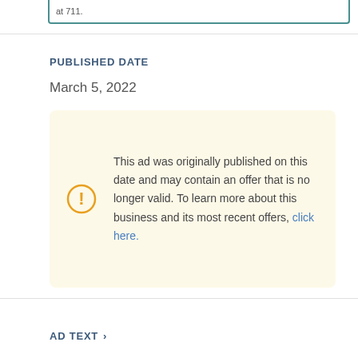at 711.
PUBLISHED DATE
March 5, 2022
This ad was originally published on this date and may contain an offer that is no longer valid. To learn more about this business and its most recent offers, click here.
AD TEXT ›